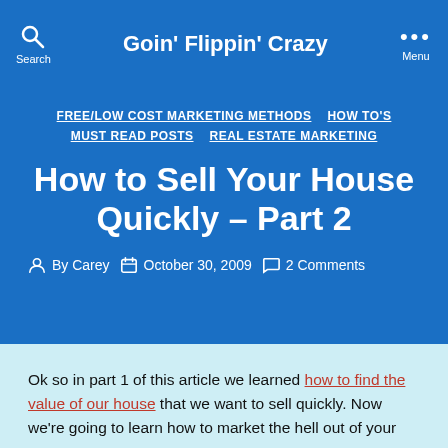Goin' Flippin' Crazy
FREE/LOW COST MARKETING METHODS  HOW TO'S  MUST READ POSTS  REAL ESTATE MARKETING
How to Sell Your House Quickly – Part 2
By Carey   October 30, 2009   2 Comments
Ok so in part 1 of this article we learned how to find the value of our house that we want to sell quickly. Now we're going to learn how to market the hell out of your